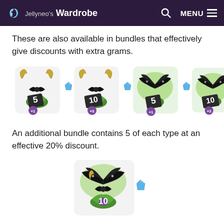Jellyneo's Wardrobe
These are also available in bundles that effectively give discounts with extra grams.
[Figure (illustration): Four bundle item icons in a row: two golden horn/bow bundles labeled 5 (+1) and 10 (+3), and two black feathered wing bundles labeled 5 (+1) and 10 (+3), each with a small blue gem icon beside them.]
An additional bundle contains 5 of each type at an effective 20% discount.
[Figure (illustration): A single large bundle item icon combining a black feathered wing and golden horn with a bow, labeled 10, with a small blue gem icon beside it.]
Note that though the description of these grams state